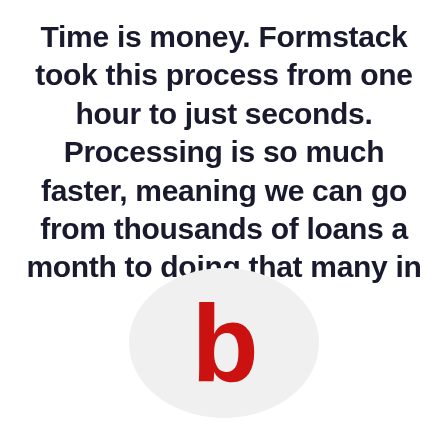Time is money. Formstack took this process from one hour to just seconds. Processing is so much faster, meaning we can go from thousands of loans a month to doing that many in a day.
[Figure (logo): A large bold red lowercase letter 'b' on a light grey circular background, representing a company logo.]